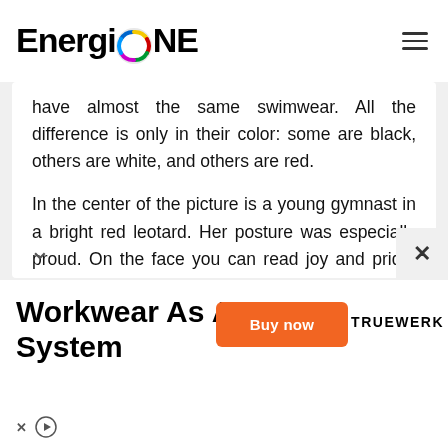EnergiONE
have almost the same swimwear. All the difference is only in their color: some are black, others are white, and others are red.

In the center of the picture is a young gymnast in a bright red leotard. Her posture was especially proud. On the face you can read joy and pride. All the girls look at her with easily guessed envy. Without further ado, it's clear that we have an undoubted leader.
Workwear As A System
Buy now
TRUEWERK